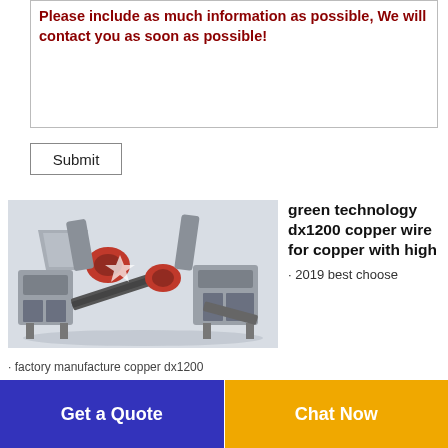Please include as much information as possible, We will contact you as soon as possible!
Submit
[Figure (photo): Industrial copper wire recycling machine (dx1200 model) with conveyor belt, rollers, and processing units, rendered in 3D on a light grey background.]
green technology dx1200 copper wire for copper with high
· 2019 best choose
· factory manufacture copper dx1200
Get a Quote
Chat Now